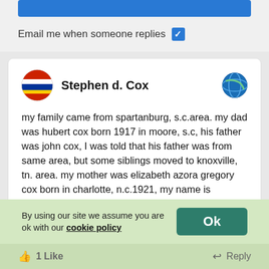[Figure (other): Blue submission button bar at top]
Email me when someone replies ☑
Stephen d. Cox
my family came from spartanburg, s.c.area. my dad was hubert cox born 1917 in moore, s.c, his father was john cox, I was told that his father was from same area, but some siblings moved to knoxville, tn. area. my mother was elizabeth azora gregory cox born in charlotte, n.c.1921, my name is stephen d. cox born 1956 in lakeland, fl. it was said that there is cherokee indian in the great, great era on the cox side. I would love to know about our family cox name, where our ansestors were from. my phone# is 813-992-2287 feel free to call anytime!
By using our site we assume you are ok with our cookie policy
1 Like
Reply